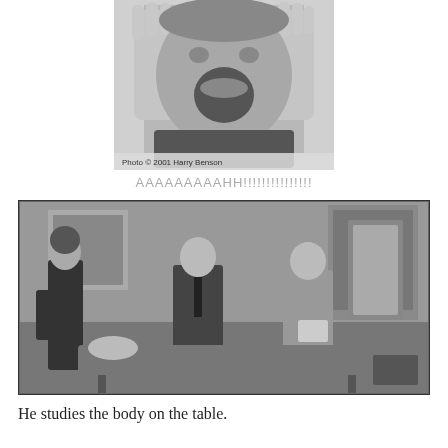[Figure (photo): Black and white photo of a person screaming with hands pressed to face, with caption 'Photo © 2001 Harry Benson']
AAAAAAAAAHH!!!!!!!!!!!!!!!
[Figure (photo): Black and white film still showing a woman in black dress standing, two men leaning over a body on a table in a room with decorated walls]
He studies the body on the table.